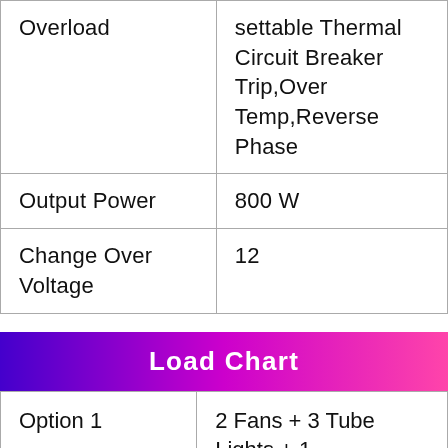| Feature | Value |
| --- | --- |
| Overload | settable Thermal Circuit Breaker Trip,Over Temp,Reverse Phase |
| Output Power | 800 W |
| Change Over Voltage | 12 |
Load Chart
| Option | Description |
| --- | --- |
| Option 1 | 2 Fans + 3 Tube Lights + 1 Television |